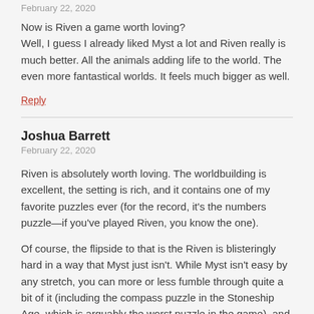February 22, 2020
Now is Riven a game worth loving?
Well, I guess I already liked Myst a lot and Riven really is much better. All the animals adding life to the world. The even more fantastical worlds. It feels much bigger as well.
Reply
Joshua Barrett
February 22, 2020
Riven is absolutely worth loving. The worldbuilding is excellent, the setting is rich, and it contains one of my favorite puzzles ever (for the record, it's the numbers puzzle—if you've played Riven, you know the one).
Of course, the flipside to that is the Riven is blisteringly hard in a way that Myst just isn't. While Myst isn't easy by any stretch, you can more or less fumble through quite a bit of it (including the compass puzzle in the Stoneship Age, which is arguably the worst puzzle in the game), and once you read the books on the shelf and get the rotations for the tower the